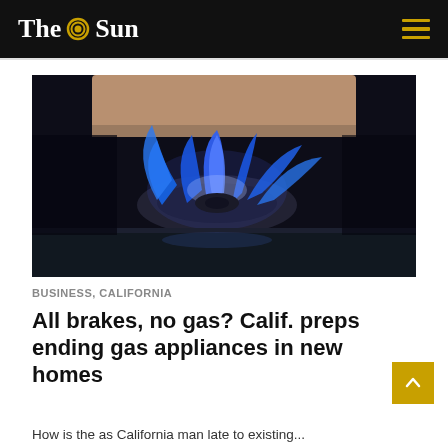The Sun
[Figure (photo): Close-up photo of a blue gas flame burning on a stovetop burner, with a pot visible at the top of the frame.]
BUSINESS, CALIFORNIA
All brakes, no gas? Calif. preps ending gas appliances in new homes
How is the as Calif ornia man late to existing...